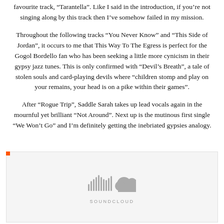favourite track, “Tarantella”. Like I said in the introduction, if you’re not singing along by this track then I’ve somehow failed in my mission.
Throughout the following tracks “You Never Know” and “This Side of Jordan”, it occurs to me that This Way To The Egress is perfect for the Gogol Bordello fan who has been seeking a little more cynicism in their gypsy jazz tunes. This is only confirmed with “Devil’s Breath”, a tale of stolen souls and card-playing devils where “children stomp and play on your remains, your head is on a pike within their games”.
After “Rogue Trip”, Saddle Sarah takes up lead vocals again in the mournful yet brilliant “Not Around”. Next up is the mutinous first single “We Won’t Go” and I’m definitely getting the inebriated gypsies analogy.
[Figure (logo): SoundCloud embedded player placeholder with SoundCloud logo (sound wave bars and cloud icon) on a light grey background with orange accent dot]